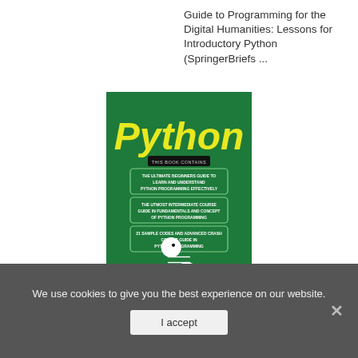Guide to Programming for the Digital Humanities: Lessons for Introductory Python (SpringerBriefs ...
[Figure (illustration): Book cover of 'Python' by Zach Webber on a dark green background. Large yellow 'Python' title text at top. Three bullet banners: 'THE ULTIMATE BEGINNERS GUIDE TO LEARN AND UNDERSTAND PYTHON PROGRAMMING EFFECTIVELY', 'THE UTMOST INTERMEDIATE COURSE GUIDE IN FUNDAMENTALS AND CONCEPT OF PYTHON PROGRAMMING', '21 SAMPLE CODES AND ADVANCED CRASH COURSE GUIDE IN PYTHON PROGRAMMING'. White Python snake logo in center. Author name 'Zach Webber' in yellow at bottom.]
We use cookies to give you the best experience on our website.
I accept